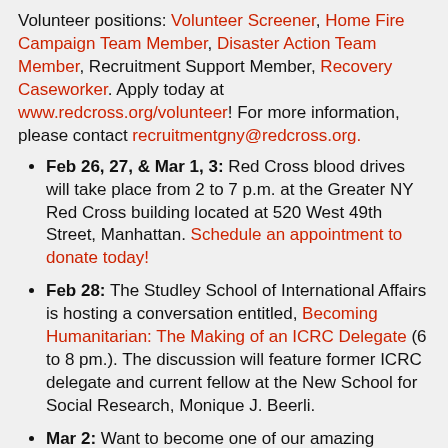Volunteer positions: Volunteer Screener, Home Fire Campaign Team Member, Disaster Action Team Member, Recruitment Support Member, Recovery Caseworker. Apply today at www.redcross.org/volunteer! For more information, please contact recruitmentgny@redcross.org.
Feb 26, 27, & Mar 1, 3: Red Cross blood drives will take place from 2 to 7 p.m. at the Greater NY Red Cross building located at 520 West 49th Street, Manhattan. Schedule an appointment to donate today!
Feb 28: The Studley School of International Affairs is hosting a conversation entitled, Becoming Humanitarian: The Making of an ICRC Delegate (6 to 8 pm.). The discussion will feature former ICRC delegate and current fellow at the New School for Social Research, Monique J. Beerli.
Mar 2: Want to become one of our amazing